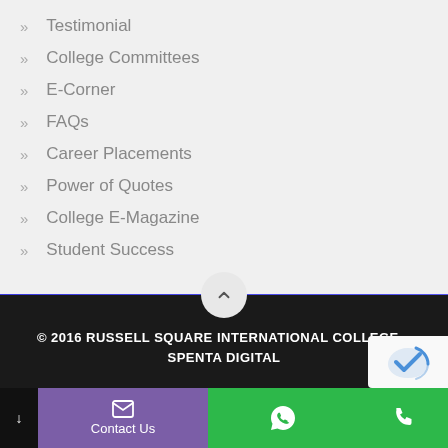Testimonial
College Committees
E-Corner
FAQs
Career Placements
Power of Quotes
College E-Magazine
Student Success
© 2016 RUSSELL SQUARE INTERNATIONAL COLLEGE   SPENTA DIGITAL
Contact Us